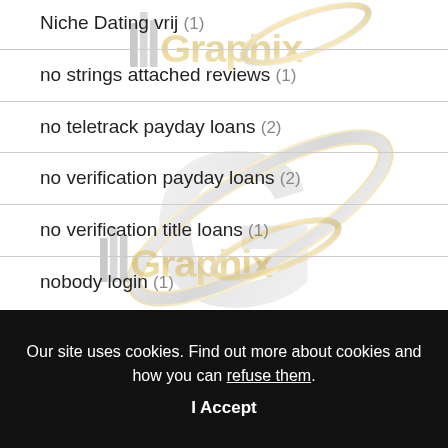Niche Dating vrij (1)
no strings attached reviews (1)
no teletrack payday loans (2)
no verification payday loans (2)
no verification title loans (1)
nobody login (1)
[Figure (logo): IllGraphix watermark logo repeated three times in gold and silver tones overlaid on the white list area]
Our site uses cookies. Find out more about cookies and how you can refuse them.
I Accept